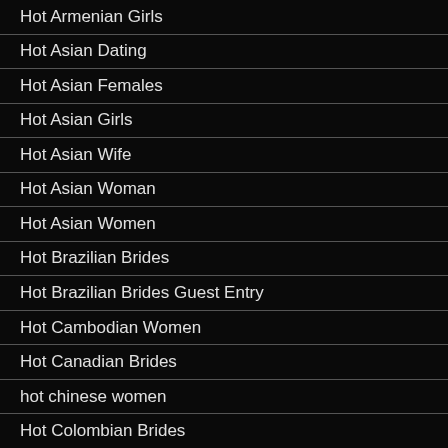Hot Armenian Girls
Hot Asian Dating
Hot Asian Females
Hot Asian Girls
Hot Asian Wife
Hot Asian Woman
Hot Asian Women
Hot Brazilian Brides
Hot Brazilian Brides Guest Entry
Hot Cambodian Women
Hot Canadian Brides
hot chinese women
Hot Colombian Brides